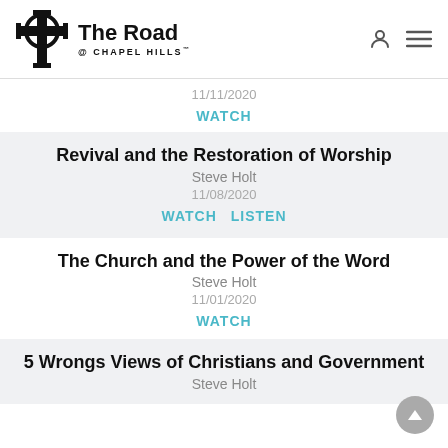The Road @ Chapel Hills
11/11/2020
WATCH
Revival and the Restoration of Worship
Steve Holt
11/08/2020
WATCH  LISTEN
The Church and the Power of the Word
Steve Holt
11/01/2020
WATCH
5 Wrongs Views of Christians and Government
Steve Holt